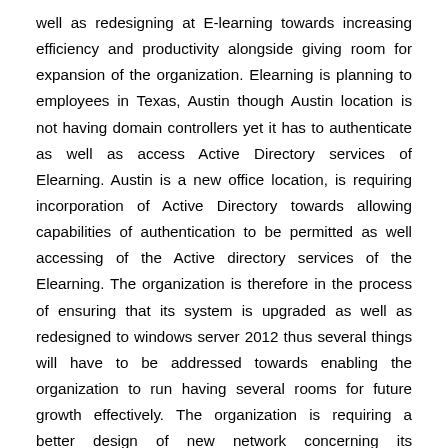well as redesigning at E-learning towards increasing efficiency and productivity alongside giving room for expansion of the organization. Elearning is planning to employees in Texas, Austin though Austin location is not having domain controllers yet it has to authenticate as well as access Active Directory services of Elearning. Austin is a new office location, is requiring incorporation of Active Directory towards allowing capabilities of authentication to be permitted as well accessing of the Active directory services of the Elearning. The organization is therefore in the process of ensuring that its system is upgraded as well as redesigned to windows server 2012 thus several things will have to be addressed towards enabling the organization to run having several rooms for future growth effectively. The organization is requiring a better design of new network concerning its development as well as organization's experiences with occurrence of in the years that have passed. The